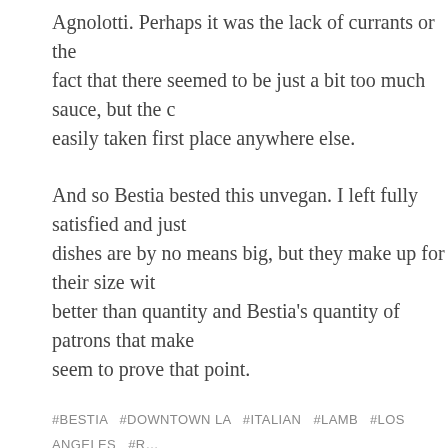Agnolotti. Perhaps it was the lack of currants or the fact that there seemed to be just a bit too much sauce, but the c… easily taken first place anywhere else.
And so Bestia bested this unvegan. I left fully satisfied and just… dishes are by no means big, but they make up for their size with… better than quantity and Bestia's quantity of patrons that make … seem to prove that point.
#BESTIA   #DOWNTOWN LA   #ITALIAN   #LAMB   #LOS ANGELES   #R… #RESTAURANTS   #SAUSAGE
THE UNVEGAN REPORT
| OPTIONS | DISH | TAST… |
| --- | --- | --- |
| 10/10 | 9/10 | 10/1… |